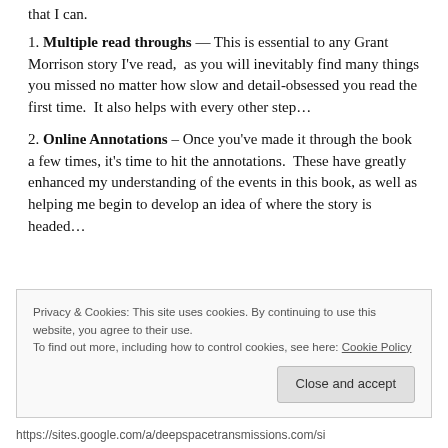that I can.
1. Multiple read throughs — This is essential to any Grant Morrison story I've read,  as you will inevitably find many things you missed no matter how slow and detail-obsessed you read the first time.  It also helps with every other step…
2. Online Annotations – Once you've made it through the book a few times, it's time to hit the annotations.  These have greatly enhanced my understanding of the events in this book, as well as helping me begin to develop an idea of where the story is headed…
Privacy & Cookies: This site uses cookies. By continuing to use this website, you agree to their use.
To find out more, including how to control cookies, see here: Cookie Policy
Close and accept
https://sites.google.com/a/deepspacetransmissions.com/si